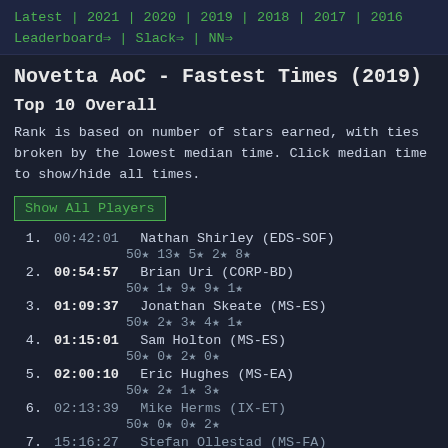Latest | 2021 | 2020 | 2019 | 2018 | 2017 | 2016
Leaderboard⇒ | Slack⇒ | NN⇒
Novetta AoC - Fastest Times (2019)
Top 10 Overall
Rank is based on number of stars earned, with ties broken by the lowest median time. Click median time to show/hide all times.
Show All Players
1. 00:42:01 Nathan Shirley (EDS-SOF)
50★ 13★ 5★ 2★ 8★
2. 00:54:57 Brian Uri (CORP-BD)
50★ 1★ 9★ 9★ 1★
3. 01:09:37 Jonathan Skeate (MS-ES)
50★ 2★ 3★ 4★ 1★
4. 01:15:01 Sam Holton (MS-ES)
50★ 0★ 2★ 0★
5. 02:00:10 Eric Hughes (MS-EA)
50★ 2★ 1★ 3★
6. 02:13:39 Mike Herms (IX-ET)
50★ 0★ 0★ 2★
7. 15:16:27 Stefan Ollestad (MS-FA)